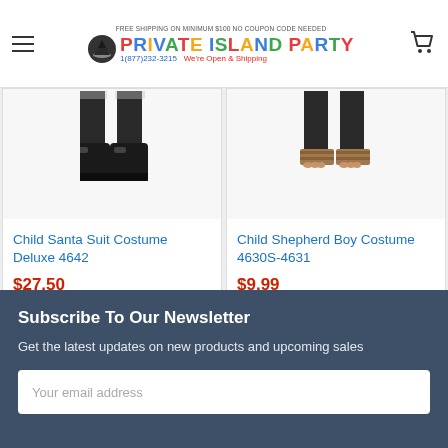FREE SHIPPING ON MINIMUM $100 NO COUPON CODE NEEDED | PRIVATE ISLAND PARTY | 1(877)232-3215 | We're Open & Shipping
[Figure (photo): Bottom portion of child santa costume showing black boots]
Child Santa Suit Costume Deluxe 4642
$27.50
[Figure (photo): Bottom portion of child shepherd boy costume showing sandals]
Child Shepherd Boy Costume 4630S-4631
$9.99
Subscribe To Our Newsletter
Get the latest updates on new products and upcoming sales
Your email address